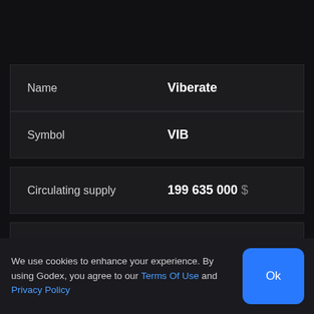| Field | Value |
| --- | --- |
| Name | Viberate |
| Symbol | VIB |
| Circulating supply | 199 635 000 $ |
| Max supply | 0 $ |
| Cmc rank | 1 843 |
We use cookies to enhance your experience. By using Godex, you agree to our Terms Of Use and Privacy Policy
Ok